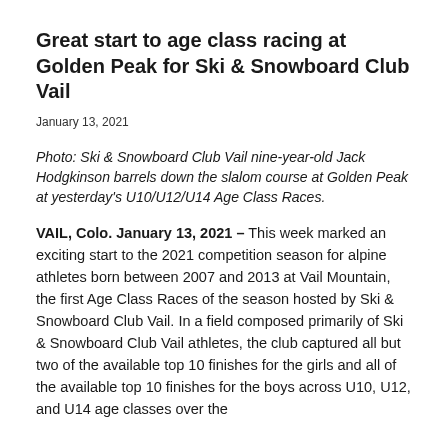Great start to age class racing at Golden Peak for Ski & Snowboard Club Vail
January 13, 2021
Photo: Ski & Snowboard Club Vail nine-year-old Jack Hodgkinson barrels down the slalom course at Golden Peak at yesterday's U10/U12/U14 Age Class Races.
VAIL, Colo. January 13, 2021 – This week marked an exciting start to the 2021 competition season for alpine athletes born between 2007 and 2013 at Vail Mountain, the first Age Class Races of the season hosted by Ski & Snowboard Club Vail. In a field composed primarily of Ski & Snowboard Club Vail athletes, the club captured all but two of the available top 10 finishes for the girls and all of the available top 10 finishes for the boys across U10, U12, and U14 age classes over the